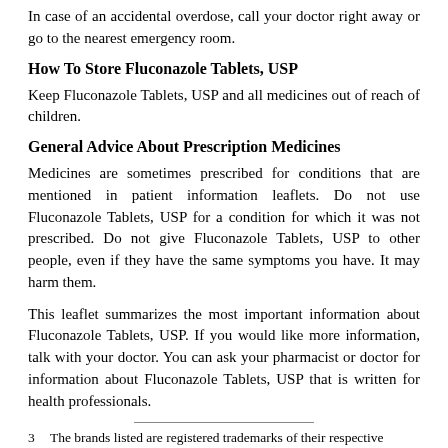In case of an accidental overdose, call your doctor right away or go to the nearest emergency room.
How To Store Fluconazole Tablets, USP
Keep Fluconazole Tablets, USP and all medicines out of reach of children.
General Advice About Prescription Medicines
Medicines are sometimes prescribed for conditions that are mentioned in patient information leaflets. Do not use Fluconazole Tablets, USP for a condition for which it was not prescribed. Do not give Fluconazole Tablets, USP to other people, even if they have the same symptoms you have. It may harm them.
This leaflet summarizes the most important information about Fluconazole Tablets, USP. If you would like more information, talk with your doctor. You can ask your pharmacist or doctor for information about Fluconazole Tablets, USP that is written for health professionals.
3  The brands listed are registered trademarks of their respective owners and are not trademarks of Taro Pharmaceuticals U.S.A., Inc. or its affilaites.
Revised: 1/2020    Taro Pharmaceuticals U.S.A., Inc.